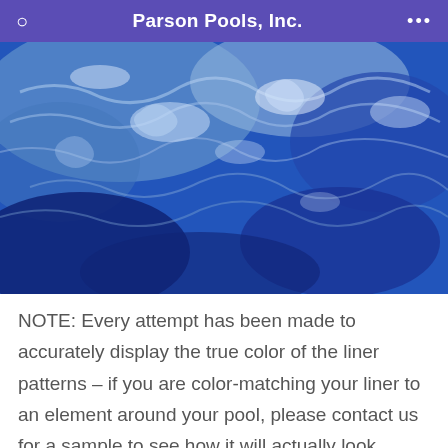Parson Pools, Inc.
[Figure (photo): Close-up photograph of a blue swimming pool liner pattern showing swirling water texture in shades of blue and white]
NOTE: Every attempt has been made to accurately display the true color of the liner patterns – if you are color-matching your liner to an element around your pool, please contact us for a sample to see how it will actually look